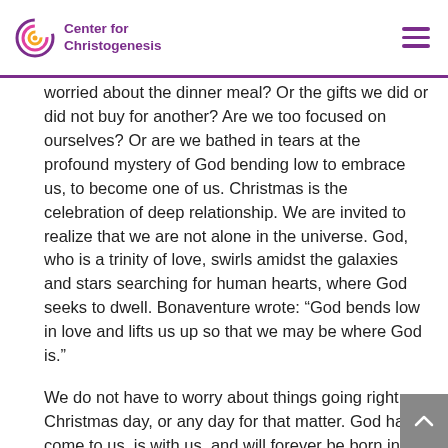Center for Christogenesis
worried about the dinner meal?  Or the gifts we did or did not buy for another?  Are we too focused on ourselves? Or are we bathed in tears at the profound mystery of God bending low to embrace us, to become one of us. Christmas is the celebration of deep relationship. We are invited to realize that we are not alone in the universe.  God, who is a trinity of love, swirls amidst the galaxies and stars searching for human hearts, where God seeks to dwell. Bonaventure wrote:  “God bends low in love and lifts us up so that we may be where God is.”
We do not have to worry about things going right on Christmas day, or any day for that matter. God has come to us, is with us, and will forever be born in us as our future, if we make space for God in our lives.  Let us celebrate this Christmas with song and dance,  for all creation is bubbling with the Spirit of Love, alive with the presence of God.